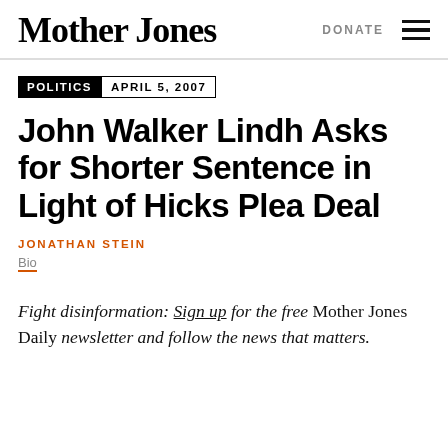Mother Jones | DONATE
POLITICS  APRIL 5, 2007
John Walker Lindh Asks for Shorter Sentence in Light of Hicks Plea Deal
JONATHAN STEIN
Bio
Fight disinformation: Sign up for the free Mother Jones Daily newsletter and follow the news that matters.